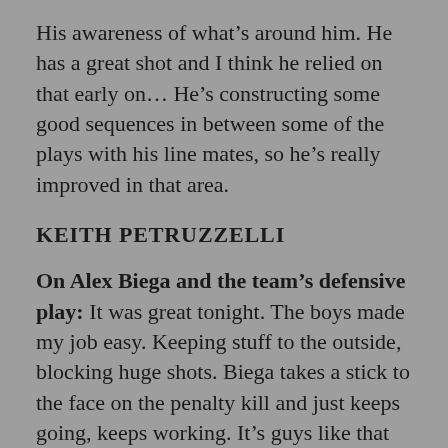His awareness of what's around him. He has a great shot and I think he relied on that early on… He's constructing some good sequences in between some of the plays with his line mates, so he's really improved in that area.
KEITH PETRUZZELLI
On Alex Biega and the team's defensive play: It was great tonight. The boys made my job easy. Keeping stuff to the outside, blocking huge shots. Biega takes a stick to the face on the penalty kill and just keeps going, keeps working. It's guys like that that just lead the way and it's good to see.